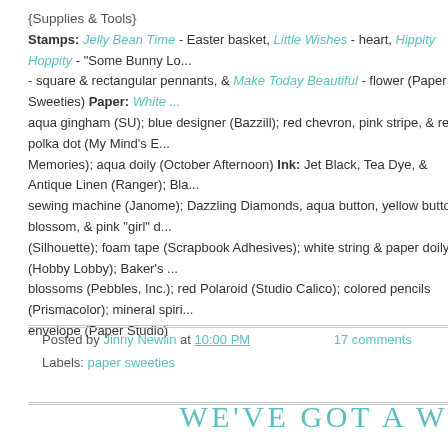{Supplies & Tools} Stamps: Jelly Bean Time - Easter basket, Little Wishes - heart, Hippity Hoppity - "Some Bunny Lo... - square & rectangular pennants, & Make Today Beautiful - flower (Paper Sweeties) Paper: White ... aqua gingham (SU); blue designer (Bazzill); red chevron, pink stripe, & red polka dot (My Mind's E... Memories); aqua doily (October Afternoon) Ink: Jet Black, Tea Dye, & Antique Linen (Ranger); Bla... sewing machine (Janome); Dazzling Diamonds, aqua button, yellow button blossom, & pink "girl" d... (Silhouette); foam tape (Scrapbook Adhesives); white string & paper doily (Hobby Lobby); Baker's ... blossoms (Pebbles, Inc.); red Polaroid (Studio Calico); colored pencils (Prismacolor); mineral spiri... envelope (Paper Studio)
Posted by Jinny Newlin at 10:00 PM   17 comments
Labels: paper sweeties
WE'VE GOT A W
SATURDAY, JUNE 29,
Random.org picked lucky number eight as my giveaway winner!